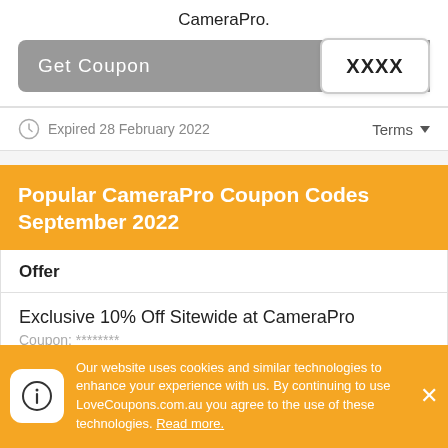CameraPro.
[Figure (other): Get Coupon button (grey) with coupon code box showing XXXX on the right side]
Expired 28 February 2022   Terms
Popular CameraPro Coupon Codes September 2022
| Offer |
| --- |
| Exclusive 10% Off Sitewide at CameraPro
Coupon: ********
Added: 27th March 2020 |
Our website uses cookies and similar technologies to enhance your experience with us. By continuing to use LoveCoupons.com.au you agree to the use of these technologies. Read more.